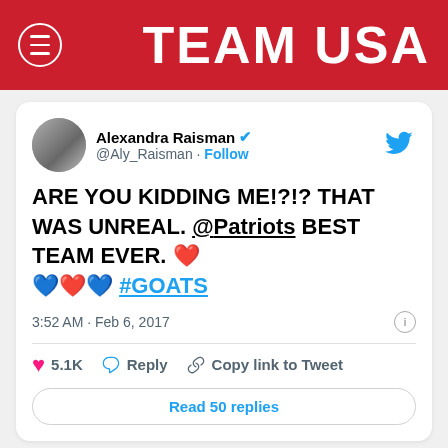TEAM USA
[Figure (screenshot): Tweet from Alexandra Raisman (@Aly_Raisman) with verified badge, Follow link, Twitter bird icon, tweet text: ARE YOU KIDDING ME!?!? THAT WAS UNREAL. @Patriots BEST TEAM EVER. ❤️ 💙❤️💙 #GOATS, timestamp 3:52 AM · Feb 6, 2017, 5.1K likes, Reply, Copy link to Tweet, Read 50 replies button]
[Figure (screenshot): Tweet from Samantha Mewis (@sammymewy) with verified badge, Follow link, Twitter bird icon, tweet text beginning: Being from New England is the best thing that]